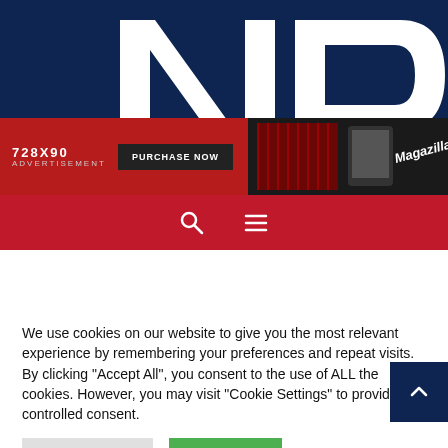[Figure (logo): Large white NP letters logo on dark navy background]
[Figure (infographic): 728x90 advertisement banner in red with 'PURCHASE NOW' button and Magazilla branding on the right]
[Figure (screenshot): Red navigation bar with search (magnifying glass) and hamburger menu icons]
We use cookies on our website to give you the most relevant experience by remembering your preferences and repeat visits. By clicking "Accept All", you consent to the use of ALL the cookies. However, you may visit "Cookie Settings" to provide a controlled consent.